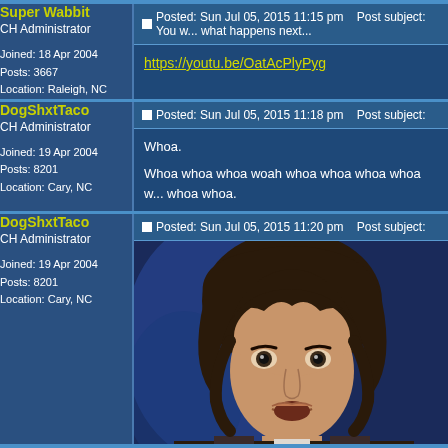| User | Post |
| --- | --- |
| Super Wabbit
CH Administrator
Joined: 18 Apr 2004
Posts: 3667
Location: Raleigh, NC | Posted: Sun Jul 05, 2015 11:15 pm   Post subject: You w... what happens next...
https://youtu.be/OatAcPlyPyg |
| DogShxtTaco
CH Administrator
Joined: 19 Apr 2004
Posts: 8201
Location: Cary, NC | Posted: Sun Jul 05, 2015 11:18 pm   Post subject:
Whoa.

Whoa whoa whoa woah whoa whoa whoa whoa w... whoa whoa. |
| DogShxtTaco
CH Administrator
Joined: 19 Apr 2004
Posts: 8201
Location: Cary, NC | Posted: Sun Jul 05, 2015 11:20 pm   Post subject:
[image of Keanu Reeves looking surprised] |